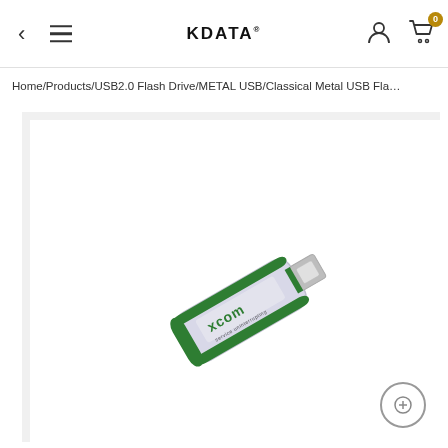KDATA — navigation header with back arrow, menu icon, user icon, and cart (0)
Home/Products/USB2.0 Flash Drive/METAL USB/Classical Metal USB Fla…
[Figure (photo): A classical metal USB flash drive with a green and silver casing, branded with 'xcom' text visible on the side, displayed at an angle on a white background inside a light grey bordered product image area.]